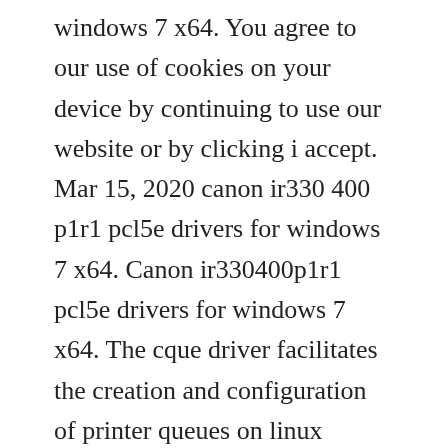windows 7 x64. You agree to our use of cookies on your device by continuing to use our website or by clicking i accept. Mar 15, 2020 canon ir330 400 p1r1 pcl5e drivers for windows 7 x64. Canon ir330400p1r1 pcl5e drivers for windows 7 x64. The cque driver facilitates the creation and configuration of printer queues on linux workstations or servers, allowing access to all features of canon devices ir. Canon ir ps ver 10 k drivers found in our drivers database. Apr 01, 2019 download drivers for canon ir3235ir3245 ufr